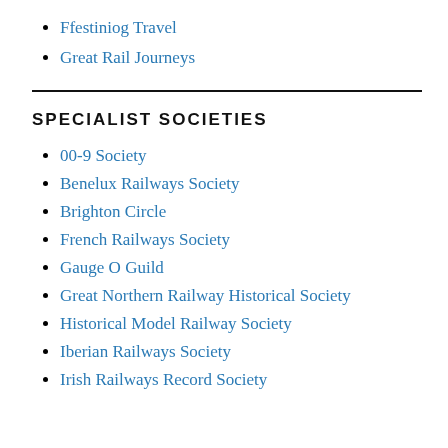Ffestiniog Travel
Great Rail Journeys
SPECIALIST SOCIETIES
00-9 Society
Benelux Railways Society
Brighton Circle
French Railways Society
Gauge O Guild
Great Northern Railway Historical Society
Historical Model Railway Society
Iberian Railways Society
Irish Railways Record Society